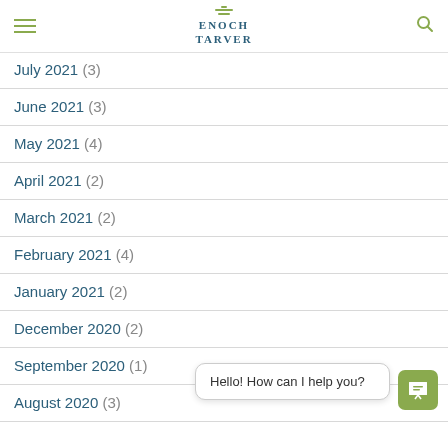ENOCH TARVER
September 2021 (4)
August 2021 (4)
July 2021 (3)
June 2021 (3)
May 2021 (4)
April 2021 (2)
March 2021 (2)
February 2021 (4)
January 2021 (2)
December 2020 (2)
September 2020 (1)
August 2020 (3)
Hello! How can I help you?